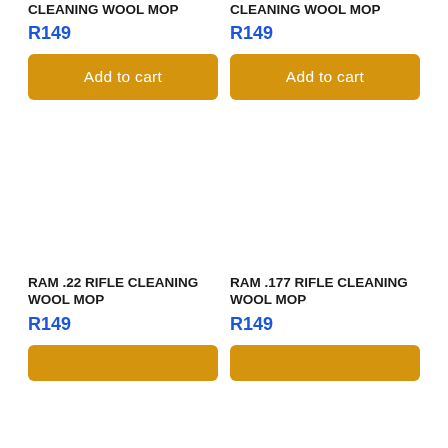CLEANING WOOL MOP
CLEANING WOOL MOP
R149
R149
Add to cart
Add to cart
[Figure (photo): Product image area for RAM .22 RIFLE CLEANING WOOL MOP (white/blank)]
[Figure (photo): Product image area for RAM .177 RIFLE CLEANING WOOL MOP (white/blank)]
RAM .22 RIFLE CLEANING WOOL MOP
RAM .177 RIFLE CLEANING WOOL MOP
R149
R149
Add to cart
Add to cart